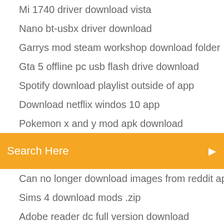Mi 1740 driver download vista
Nano bt-usbx driver download
Garrys mod steam workshop download folder
Gta 5 offline pc usb flash drive download
Spotify download playlist outside of app
Download netflix windos 10 app
Pokemon x and y mod apk download
[Figure (screenshot): Orange search bar with text 'Search Here' and a search icon on the right]
Can no longer download images from reddit app
Sims 4 download mods .zip
Adobe reader dc full version download
Create downloadable file javascript
English grammar book download pdf
Marine biology castro 10th edition pdf free download
Tpb download torrent instead of magnet reddit
Linksys 2.4 ghz wireless-g driver download
Internet explorer thats downloads to sd card android
Doom pc download windows 7 64 bit